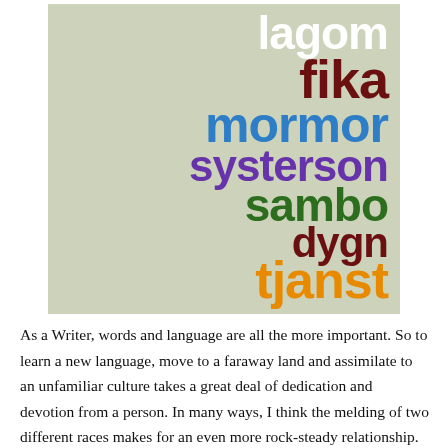[Figure (illustration): Word art image on a sage/khaki green background showing Swedish words stacked vertically in large bold text in various colors: 'lagom' (white), 'fika' (dark red), 'mormor' (blue), 'systerson' (purple), 'sambo' (dark green), 'dygn' (dark red), 'tjanst' (orange). Words are right-aligned and cascade down.]
As a Writer, words and language are all the more important. So to learn a new language, move to a faraway land and assimilate to an unfamiliar culture takes a great deal of dedication and devotion from a person. In many ways, I think the melding of two different races makes for an even more rock-steady relationship. No matter how outgoing